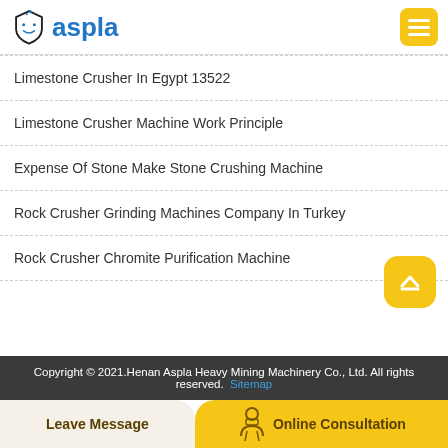aspla
Limestone Crusher In Egypt 13522
Limestone Crusher Machine Work Principle
Expense Of Stone Make Stone Crushing Machine
Rock Crusher Grinding Machines Company In Turkey
Rock Crusher Chromite Purification Machine
Copyright © 2021.Henan Aspla Heavy Mining Machinery Co., Ltd. All rights reserved. Sitemap
Leave Message
Online Consultation